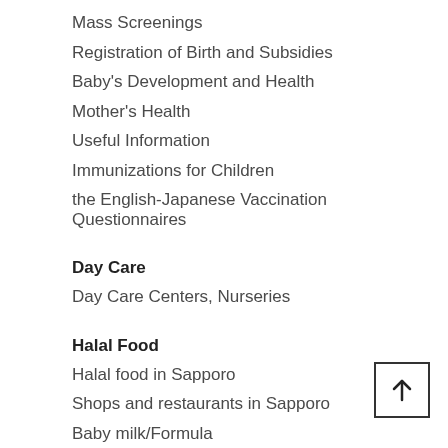Mass Screenings
Registration of Birth and Subsidies
Baby's Development and Health
Mother's Health
Useful Information
Immunizations for Children
the English-Japanese Vaccination Questionnaires
Day Care
Day Care Centers, Nurseries
Halal Food
Halal food in Sapporo
Shops and restaurants in Sapporo
Baby milk/Formula
Comments from Muslim Clients